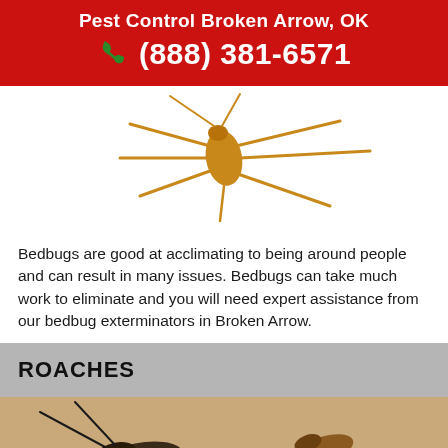Pest Control Broken Arrow, OK
(888) 381-6571
[Figure (photo): Close-up photo of a bug (likely a bedbug or similar insect) with long legs splayed out against a white background, viewed from above]
Bedbugs are good at acclimating to being around people and can result in many issues. Bedbugs can take much work to eliminate and you will need expert assistance from our bedbug exterminators in Broken Arrow.
ROACHES
[Figure (photo): Close-up photo of roaches on a surface, showing dark antennae and brown/amber colored roach bodies]